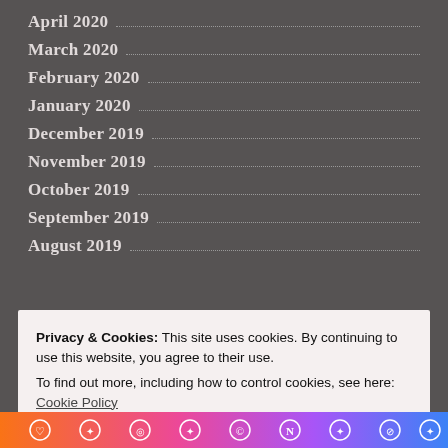April 2020
March 2020
February 2020
January 2020
December 2019
November 2019
October 2019
September 2019
August 2019
Privacy & Cookies: This site uses cookies. By continuing to use this website, you agree to their use.
To find out more, including how to control cookies, see here: Cookie Policy
[Figure (illustration): Colorful social media icon bar at the bottom with gradient background from orange to purple]